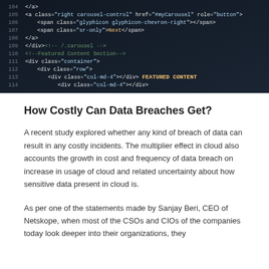[Figure (screenshot): Screenshot of dark-themed code editor showing HTML source code with line numbers 104-116, featuring Bootstrap carousel markup and div elements with class attributes, white and yellow monospace text on dark navy/black background.]
How Costly Can Data Breaches Get?
A recent study explored whether any kind of breach of data can result in any costly incidents. The multiplier effect in cloud also accounts the growth in cost and frequency of data breach on increase in usage of cloud and related uncertainty about how sensitive data present in cloud is.
As per one of the statements made by Sanjay Beri, CEO of Netskope, when most of the CSOs and CIOs of the companies today look deeper into their organizations, they